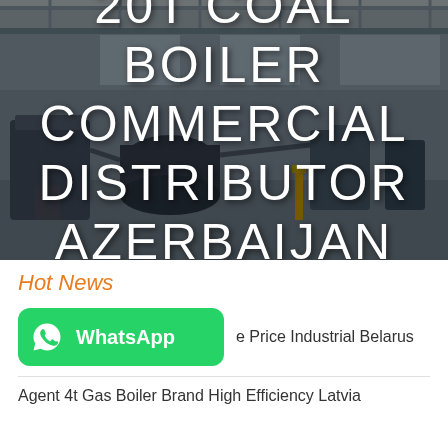[Figure (photo): Industrial boiler factory/warehouse interior with large machinery, overhead cranes, and equipment. Dark overlay with white uppercase text overlay reading '20T COAL BOILER COMMERCIAL DISTRIBUTOR AZERBAIJAN']
20T COAL BOILER COMMERCIAL DISTRIBUTOR AZERBAIJAN
Hot News
WhatsApp  [price] Price Industrial Belarus
Agent 4t Gas Boiler Brand High Efficiency Latvia